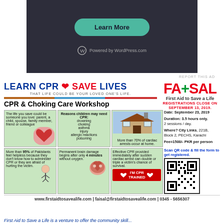[Figure (screenshot): WordPress 'Learn More' ad banner with dark background, teal rounded button labeled 'Learn More', and 'Powered by WordPress.com' footer]
REPORT THIS AD
LEARN CPR ❤ SAVE LIVES
THAT LIFE COULD BE YOUR LOVED ONE'S LIFE.
[Figure (logo): FA+SAL — First Aid to Save a Life logo with red FA+SAL text and green plus]
REGISTRATIONS CLOSE ON SEPTEMBER 13, 2019.
CPR & Choking Care Workshop
The life you save could be someone you love: parent, a child, spouse, family member, friend or colleague
Reasons children may need CPR:
drowning
choking
asthma
injury
allergic reactions
poisoning
More than 70% of cardiac arrests occur at home.
Date: September 23, 2019
Duration: 3.5 hours only. 2 sessions / day.
Where? City Links, 221B, Block 2, PECHS, Karachi
Fee=1500/- PKR per person
Scan QR code & fill the form to get registered.
More than 95% of Pakistanis feel helpless because they don't know how to administer CPR or they are afraid of hurting the victim.
Permanent brain damage begins after only 4 minutes without oxygen.
Effective CPR provided immediately after sudden cardiac arrest can double or triple a victim's chance of survival.
I'M CPR TRAINED
www.firstaidtosavealife.com | faisal@firstaidtosavealife.com | 0345 - 5656307
First Aid to Save a Life is a venture to offer the community skill...